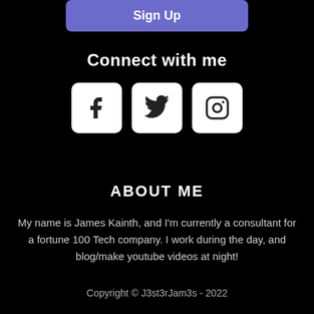Sign Up
Connect with me
[Figure (illustration): Three social media icon buttons: Facebook, Twitter, Instagram, displayed as white rounded squares with dark icons]
ABOUT ME
My name is James Kainth, and I'm currently a consultant for a fortune 100 Tech company. I work during the day, and blog/make youtube videos at night!
Copyright © J3st3rJam3s - 2022